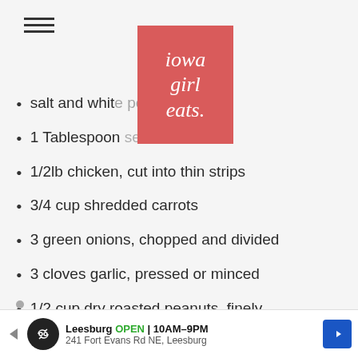[Figure (logo): Iowa Girl Eats red logo with white italic text]
Salt and white [pepper]
1 Tablespoon [sesame] oil
1/2lb chicken, cut into thin strips
3/4 cup shredded carrots
3 green onions, chopped and divided
3 cloves garlic, pressed or minced
1/2 cup dry roasted peanuts, finely minced and divided
1 lime, cut into wedges
[Figure (infographic): Advertisement banner: Leesburg OPEN 10AM-9PM, 241 Fort Evans Rd NE, Leesburg with navigation arrow icon]